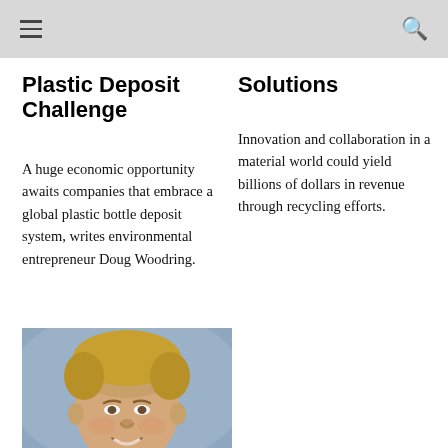Plastic Deposit Challenge
A huge economic opportunity awaits companies that embrace a global plastic bottle deposit system, writes environmental entrepreneur Doug Woodring.
Solutions
Innovation and collaboration in a material world could yield billions of dollars in revenue through recycling efforts.
[Figure (photo): Portrait photo of a smiling young man with blonde hair, wearing a dark jacket, photographed in soft focus with a blue background.]